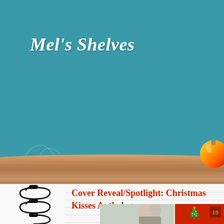Mel's Shelves
Cover Reveal/Spotlight: Christmas Kisses Anthology
[Figure (photo): Partial view of a book cover photo strip showing a couple in winter clothing on the left and a Christmas tree decorated cover on the right]
[Figure (illustration): Decorative teal background with scrollwork/swirl patterns, a brown rolled paper/scroll element across the middle, a spiral-bound notebook at the bottom, black spiral binding coils on the left, and a colorful ornament ball at the top right corner]